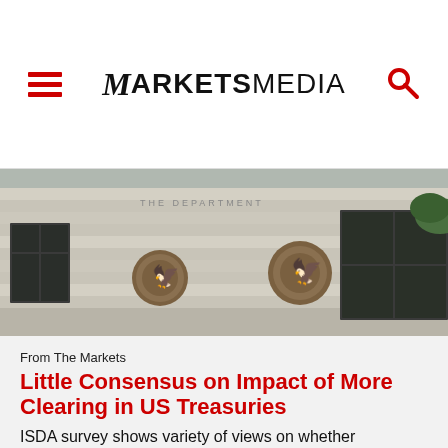MARKETS MEDIA
[Figure (photo): Exterior of a government building (US Treasury Department) showing stone facade with decorative seals/medallions and windows]
From The Markets
Little Consensus on Impact of More Clearing in US Treasuries
ISDA survey shows variety of views on whether increased clearing would